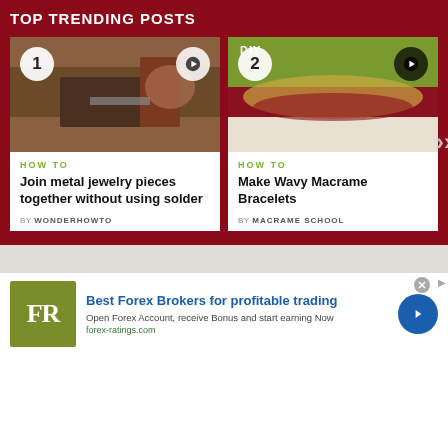TOP TRENDING POSTS
[Figure (screenshot): Thumbnail image of soldering/metal joining craft task, with white circle badge '1' and play button overlay]
HOW TO
Join metal jewelry pieces together without using solder
BY WONDERHOWTO
[Figure (screenshot): Thumbnail image of wavy macrame bracelets on green background with 'DIY' label, white circle badge '2' and play button overlay]
HOW TO
Make Wavy Macrame Bracelets
BY MACRAME SCHOOL
[Figure (logo): FR logo in olive/yellow-green square box for forex-ratings.com advertisement]
Best Forex Brokers for profitable trading
Open Forex Account, receive Bonus and start earning Now
forex-ratings.com